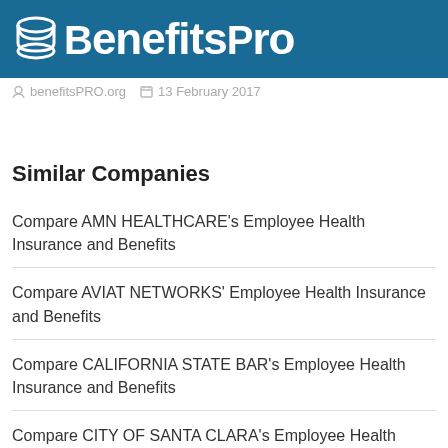BenefitsPro
benefitsPRO.org   13 February 2017
Similar Companies
Compare AMN HEALTHCARE's Employee Health Insurance and Benefits
Compare AVIAT NETWORKS' Employee Health Insurance and Benefits
Compare CALIFORNIA STATE BAR's Employee Health Insurance and Benefits
Compare CITY OF SANTA CLARA's Employee Health Insurance and Benefits